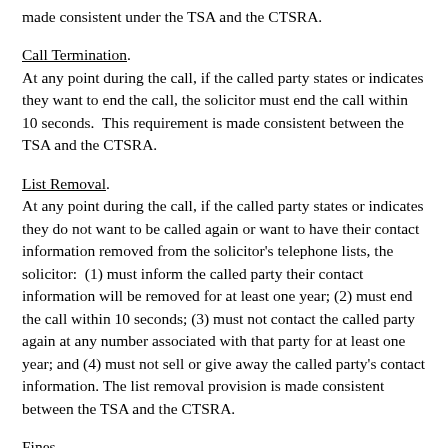made consistent under the TSA and the CTSRA.
Call Termination.
At any point during the call, if the called party states or indicates they want to end the call, the solicitor must end the call within 10 seconds.  This requirement is made consistent between the TSA and the CTSRA.
List Removal.
At any point during the call, if the called party states or indicates they do not want to be called again or want to have their contact information removed from the solicitor's telephone lists, the solicitor:  (1) must inform the called party their contact information will be removed for at least one year; (2) must end the call within 10 seconds; (3) must not contact the called party again at any number associated with that party for at least one year; and (4) must not sell or give away the called party's contact information. The list removal provision is made consistent between the TSA and the CTSRA.
Fines.
Violations of the call time restrictions or identification and opt-out, call termination, or list removal requirements are subject to a